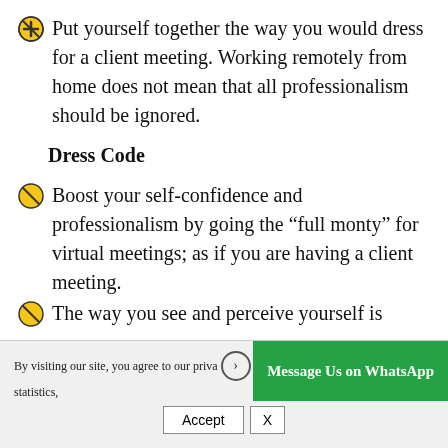Put yourself together the way you would dress for a client meeting. Working remotely from home does not mean that all professionalism should be ignored.
Dress Code
Boost your self-confidence and professionalism by going the “full monty” for virtual meetings; as if you are having a client meeting.
The way you see and perceive yourself is
By visiting our site, you agree to our priva… statistics,
Message Us on WhatsApp